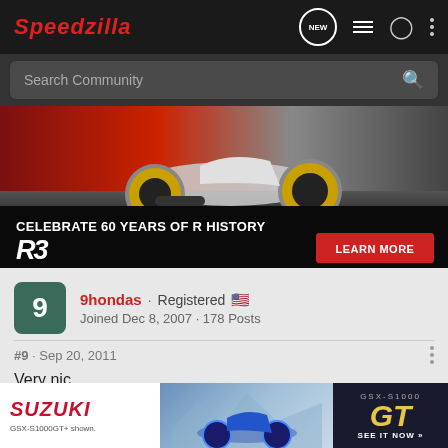Speedzilla
Search Community
[Figure (photo): Yamaha R3 motorcycle advertisement banner. Shows a sport motorcycle with gold wheels against a red background. Text reads: CELEBRATE 60 YEARS OF R HISTORY, R3 logo, LEARN MORE button.]
9hondas · Registered
Joined Dec 8, 2007 · 178 Posts
#9 · Sep 20, 2011
Very nic
[Figure (photo): Suzuki GSX-S1000 GT advertisement banner. Shows motorcycle with blue mountain background. Text reads: SUZUKI, GSX-S1000GT+ shown., GSX-S1000, GT, SEE IT NOW.]